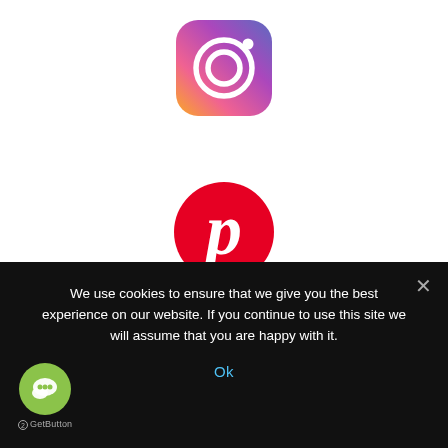[Figure (logo): Instagram logo - rounded square with gradient (purple-orange) background and white camera outline icon]
[Figure (logo): Pinterest logo - red circle with white cursive P icon]
We use cookies to ensure that we give you the best experience on our website. If you continue to use this site we will assume that you are happy with it.
Ok
[Figure (logo): GetButton chat widget - green circle with white speech bubble icon, label: 2GetButton]